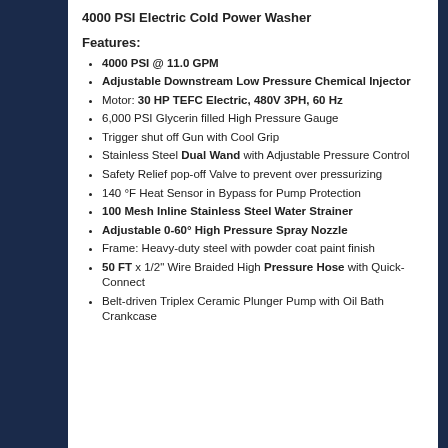4000 PSI Electric Cold Power Washer
Features:
4000 PSI @ 11.0 GPM
Adjustable Downstream Low Pressure Chemical Injector
Motor: 30 HP TEFC Electric, 480V 3PH, 60 Hz
6,000 PSI Glycerin filled High Pressure Gauge
Trigger shut off Gun with Cool Grip
Stainless Steel Dual Wand with Adjustable Pressure Control
Safety Relief pop-off Valve to prevent over pressurizing
140 °F Heat Sensor in Bypass for Pump Protection
100 Mesh Inline Stainless Steel Water Strainer
Adjustable 0-60° High Pressure Spray Nozzle
Frame: Heavy-duty steel with powder coat paint finish
50 FT x 1/2" Wire Braided High Pressure Hose with Quick-Connect
Belt-driven Triplex Ceramic Plunger Pump with Oil Bath Crankcase